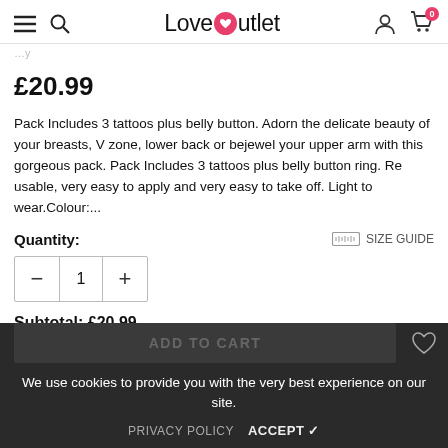LoveOutlet
£20.99
Pack Includes 3 tattoos plus belly button. Adorn the delicate beauty of your breasts, V zone, lower back or bejewel your upper arm with this gorgeous pack. Pack Includes 3 tattoos plus belly button ring. Re usable, very easy to apply and very easy to take off. Light to wear.Colour:...
Quantity:
SIZE GUIDE
1
Subtotal:  £20.99
We use cookies to provide you with the very best experience on our site.
ADD TO CART
PRIVACY POLICY  ACCEPT ✓